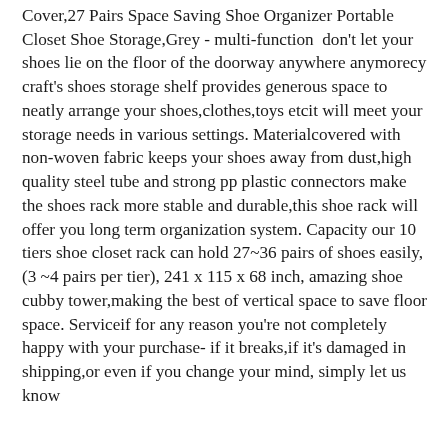Cover,27 Pairs Space Saving Shoe Organizer Portable Closet Shoe Storage,Grey - multi-function  don't let your shoes lie on the floor of the doorway anywhere anymorecy craft's shoes storage shelf provides generous space to neatly arrange your shoes,clothes,toys etcit will meet your storage needs in various settings. Materialcovered with non-woven fabric keeps your shoes away from dust,high quality steel tube and strong pp plastic connectors make the shoes rack more stable and durable,this shoe rack will offer you long term organization system. Capacity our 10 tiers shoe closet rack can hold 27~36 pairs of shoes easily,(3 ~4 pairs per tier), 241 x 115 x 68 inch, amazing shoe cubby tower,making the best of vertical space to save floor space. Serviceif for any reason you're not completely happy with your purchase- if it breaks,if it's damaged in shipping,or even if you change your mind, simply let us know